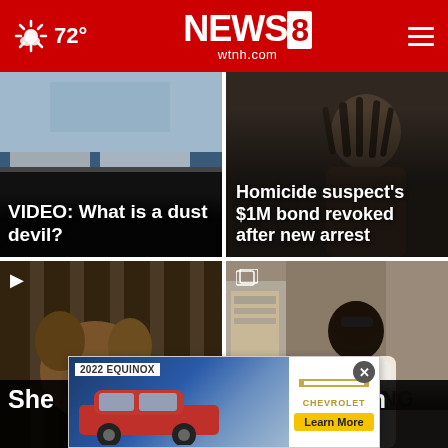NEWS8 wtnh.com — 72°
[Figure (screenshot): News card 1: Cars in parking lot, headline VIDEO: What is a dust devil?]
[Figure (screenshot): News card 2: Person portrait, headline Homicide suspect's $1M bond revoked after new arrest]
[Figure (screenshot): News card 3: Dog behind cage bars close-up, partial headline Shelter... an... pet surrenders...]
[Figure (screenshot): News card 4: Person in white shirt at ATM, partial headline West Hartford... involved in...]
Shelter ... an ... pet surrenders ... West Hartford ... involved in ...
[Figure (screenshot): Advertisement overlay: 2022 Equinox Chevrolet Learn More with close button]